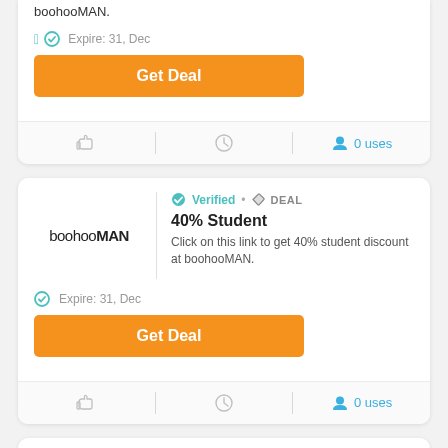boohooMAN.
Expire: 31, Dec
Get Deal
0 uses
[Figure (logo): boohooMAN logo text]
Verified • DEAL
40% Student
Click on this link to get 40% student discount at boohooMAN.
Expire: 31, Dec
Get Deal
0 uses
[Figure (logo): BROTHER2BROTHER+ logo text]
Verified • DEAL
Enter This Discount Code At Checkout To